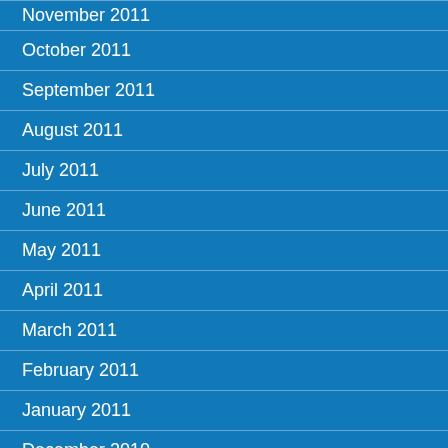November 2011
October 2011
September 2011
August 2011
July 2011
June 2011
May 2011
April 2011
March 2011
February 2011
January 2011
December 2010
November 2010